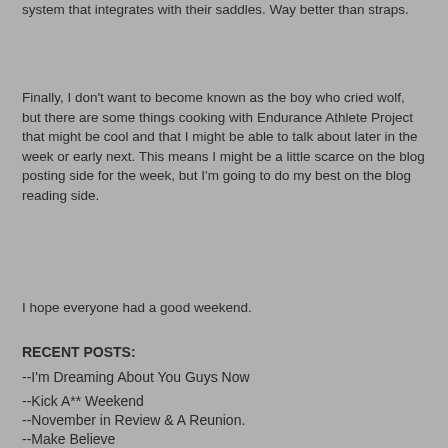system that integrates with their saddles. Way better than straps.
Finally, I don't want to become known as the boy who cried wolf, but there are some things cooking with Endurance Athlete Project that might be cool and that I might be able to talk about later in the week or early next. This means I might be a little scarce on the blog posting side for the week, but I'm going to do my best on the blog reading side.
I hope everyone had a good weekend.
RECENT POSTS:
--I'm Dreaming About You Guys Now
--Kick A** Weekend
--November in Review & A Reunion.
--Make Believe